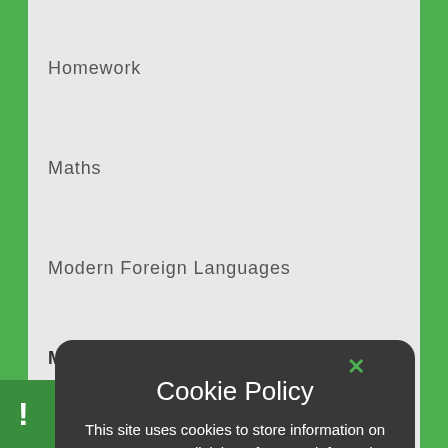Homework
Maths
Modern Foreign Languages
Music
Cookie Policy
This site uses cookies to store information on your computer. Click here for more information
Allow Cookies
Deny Cookies
!
pship